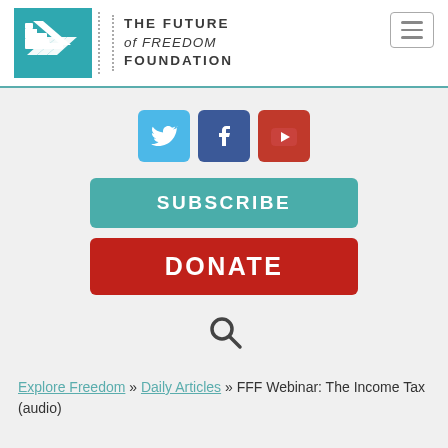[Figure (logo): The Future of Freedom Foundation logo with teal square containing stylized 'fff' letters and text 'THE FUTURE of FREEDOM FOUNDATION']
[Figure (infographic): Social media icons: Twitter (blue bird), Facebook (blue f), YouTube (red play button)]
SUBSCRIBE
DONATE
[Figure (other): Search magnifying glass icon]
Explore Freedom >> Daily Articles >> FFF Webinar: The Income Tax (audio)